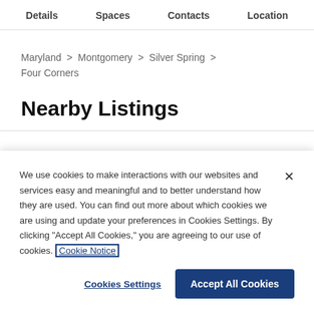Details   Spaces   Contacts   Location
Maryland > Montgomery > Silver Spring > Four Corners
Nearby Listings
We use cookies to make interactions with our websites and services easy and meaningful and to better understand how they are used. You can find out more about which cookies we are using and update your preferences in Cookies Settings. By clicking "Accept All Cookies," you are agreeing to our use of cookies. Cookie Notice
Cookies Settings   Accept All Cookies